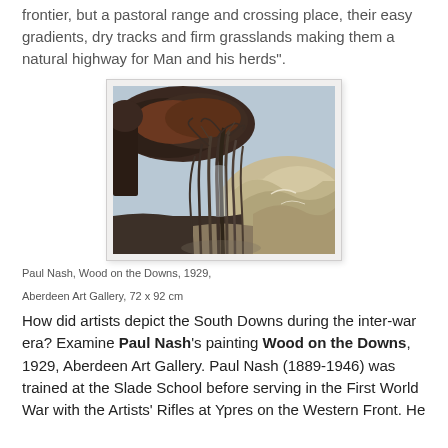frontier, but a pastoral range and crossing place, their easy gradients, dry tracks and firm grasslands making them a natural highway for Man and his herds".
[Figure (illustration): Paul Nash painting 'Wood on the Downs', 1929. A landscape painting showing a grove of tall, bare trees with dark foliage at the top, set against rolling chalk downland hills in muted browns and tans, with a pale blue sky.]
Paul Nash, Wood on the Downs, 1929,
Aberdeen Art Gallery, 72 x 92 cm
How did artists depict the South Downs during the inter-war era? Examine Paul Nash's painting Wood on the Downs, 1929, Aberdeen Art Gallery. Paul Nash (1889-1946) was trained at the Slade School before serving in the First World War with the Artists' Rifles at Ypres on the Western Front. He